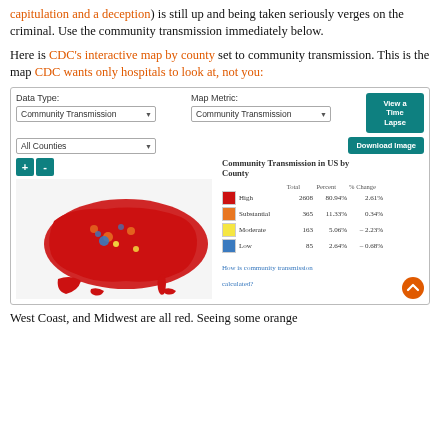capitulation and a deception) is still up and being taken seriously verges on the criminal. Use the community transmission immediately below.
Here is CDC's interactive map by county set to community transmission. This is the map CDC wants only hospitals to look at, not you:
[Figure (screenshot): CDC interactive map screenshot showing Community Transmission in US by County. Controls: Data Type dropdown (Community Transmission), Map Metric dropdown (Community Transmission), View a Time Lapse button, All Counties dropdown, Download Image button, zoom +/- buttons. US map mostly red. Legend: High 2608 80.94% 2.61%; Substantial 365 11.33% 0.34%; Moderate 163 5.06% -2.23%; Low 85 2.64% -0.68%. Link: How is community transmission calculated?]
West Coast, and Midwest are all red. Seeing some orange